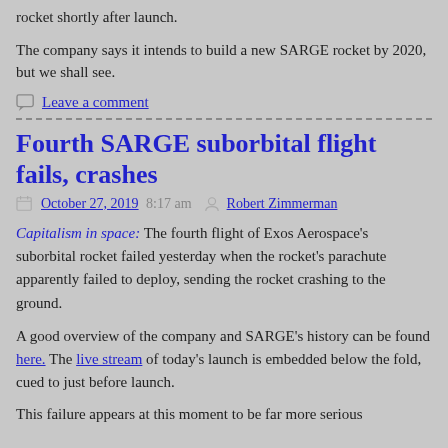rocket shortly after launch.
The company says it intends to build a new SARGE rocket by 2020, but we shall see.
Leave a comment
Fourth SARGE suborbital flight fails, crashes
October 27, 2019 8:17 am  Robert Zimmerman
Capitalism in space: The fourth flight of Exos Aerospace’s suborbital rocket failed yesterday when the rocket’s parachute apparently failed to deploy, sending the rocket crashing to the ground.
A good overview of the company and SARGE’s history can be found here. The live stream of today’s launch is embedded below the fold, cued to just before launch.
This failure appears at this moment to be far more serious